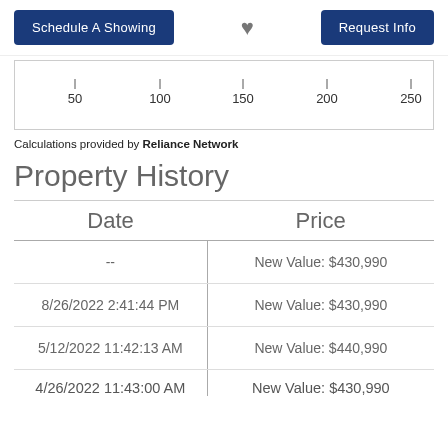Schedule A Showing | [heart] | Request Info
[Figure (continuous-plot): Partial horizontal axis chart showing tick marks at 50, 100, 150, 200, 250]
Calculations provided by Reliance Network
Property History
| Date | Price |
| --- | --- |
| -- | New Value: $430,990 |
| 8/26/2022 2:41:44 PM | New Value: $430,990 |
| 5/12/2022 11:42:13 AM | New Value: $440,990 |
| 4/26/2022 11:43:00 AM | New Value: $430,990 |